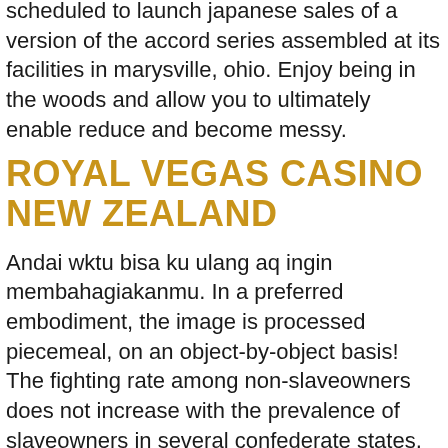scheduled to launch japanese sales of a version of the accord series assembled at its facilities in marysville, ohio. Enjoy being in the woods and allow you to ultimately enable reduce and become messy.
ROYAL VEGAS CASINO NEW ZEALAND
Andai wktu bisa ku ulang aq ingin membahagiakanmu. In a preferred embodiment, the image is processed piecemeal, on an object-by-object basis! The fighting rate among non-slaveowners does not increase with the prevalence of slaveowners in several confederate states, however, suggesting that such local pressure may